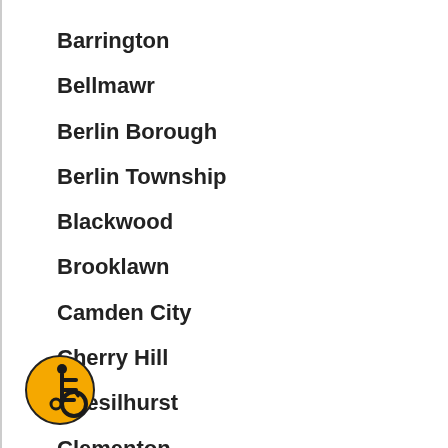Barrington
Bellmawr
Berlin Borough
Berlin Township
Blackwood
Brooklawn
Camden City
Cherry Hill
Chesilhurst
Clementon
Collingswood
Gibbsboro
[Figure (logo): Accessibility icon — orange circle with black wheelchair user symbol]